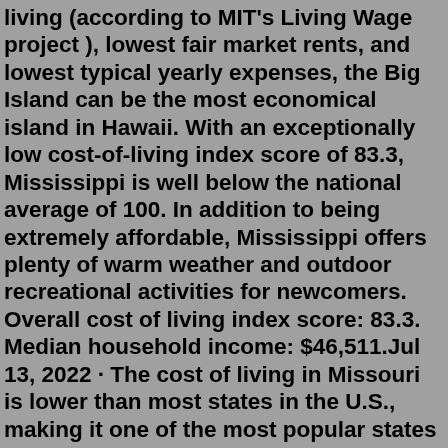living (according to MIT's Living Wage project ), lowest fair market rents, and lowest typical yearly expenses, the Big Island can be the most economical island in Hawaii. With an exceptionally low cost-of-living index score of 83.3, Mississippi is well below the national average of 100. In addition to being extremely affordable, Mississippi offers plenty of warm weather and outdoor recreational activities for newcomers. Overall cost of living index score: 83.3. Median household income: $46,511.Jul 13, 2022 · The cost of living in Missouri is lower than most states in the U.S., making it one of the most popular states to live in for 2022. 5. New Mexico. New Mexico is the fifth-largest state in the U.S. and still one of the cheaper states to live in. 7. Dove Valley. Dove Valley is a well-kept secret; it's the most affordable and best place to live in the Denver Metropolitan Area. A southeast suburb of Denver, the median home prices are only $300,000. It's been listed as #12 in Best Places to Raise a Family in Colorado.Aloha and welcome to